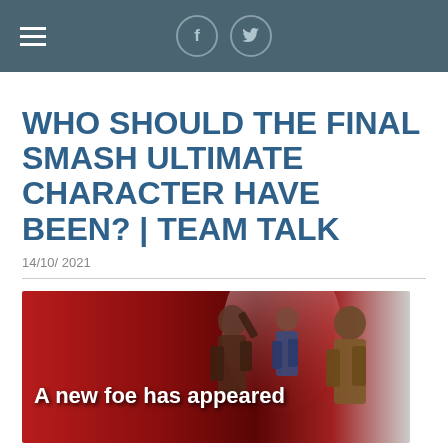Navigation bar with hamburger menu and Facebook/Twitter social icons
WHO SHOULD THE FINAL SMASH ULTIMATE CHARACTER HAVE BEEN? | TEAM TALK
14/10/2021
[Figure (photo): Red background promotional image with video game characters (Dante from Devil May Cry, a female character, and Leon Kennedy from Resident Evil). Text overlay reads 'A new foe has appeared']